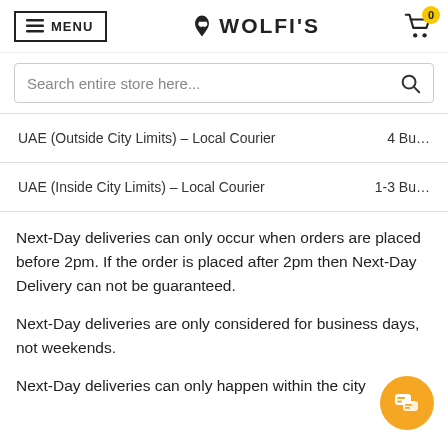MENU | WOLFI'S | Cart 0
Search entire store here...
| Shipping Method | Delivery Time |
| --- | --- |
| UAE (Outside City Limits) – Local Courier | 4 Bu... |
| UAE (Inside City Limits) – Local Courier | 1-3 Bu... |
Next-Day deliveries can only occur when orders are placed before 2pm. If the order is placed after 2pm then Next-Day Delivery can not be guaranteed.
Next-Day deliveries are only considered for business days, not weekends.
Next-Day deliveries can only happen within the city